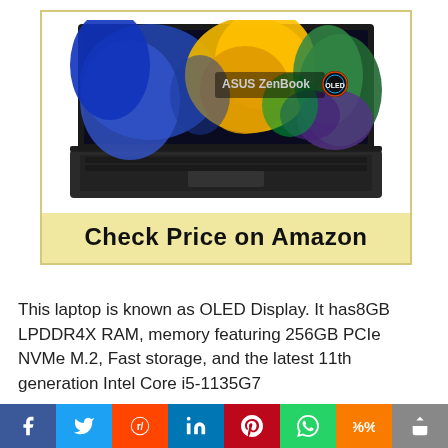[Figure (photo): ASUS ZenBook OLED laptop with colorful abstract display showing feathers/flowers, dark gray chassis with backlit keyboard]
Check Price on Amazon
This laptop is known as OLED Display. It has8GB LPDDR4X RAM, memory featuring 256GB PCIe NVMe M.2, Fast storage, and the latest 11th generation Intel Core i5-1135G7